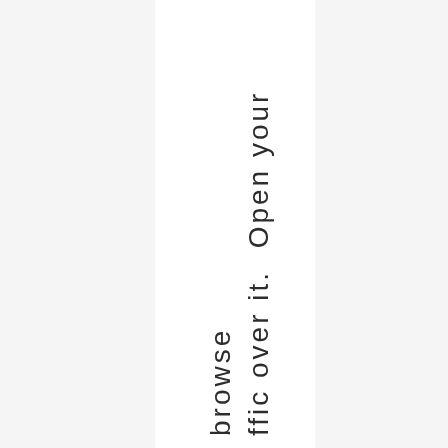ffic over it. Open your browse